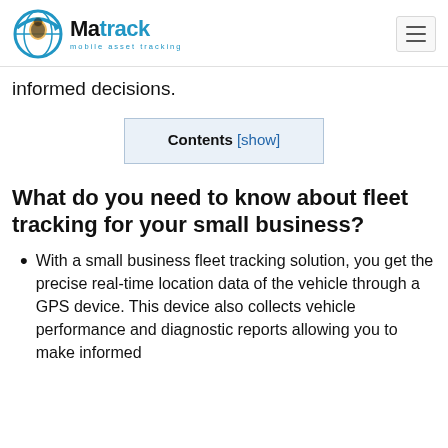Matrack mobile asset tracking
informed decisions.
Contents [show]
What do you need to know about fleet tracking for your small business?
With a small business fleet tracking solution, you get the precise real-time location data of the vehicle through a GPS device. This device also collects vehicle performance and diagnostic reports allowing you to make informed